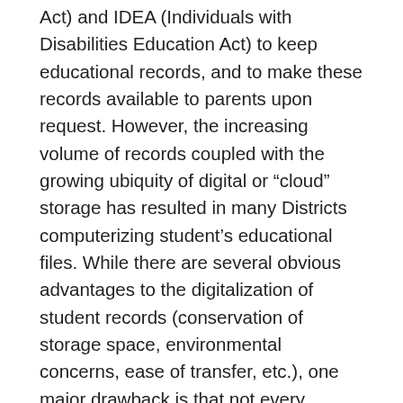Act) and IDEA (Individuals with Disabilities Education Act) to keep educational records, and to make these records available to parents upon request. However, the increasing volume of records coupled with the growing ubiquity of digital or “cloud” storage has resulted in many Districts computerizing student’s educational files. While there are several obvious advantages to the digitalization of student records (conservation of storage space, environmental concerns, ease of transfer, etc.), one major drawback is that not every document which might be considered an “educational record” will find its way from the physical file to the hard drive.
Documents like IEPs, report cards, and Districts might be anticipated to place on the